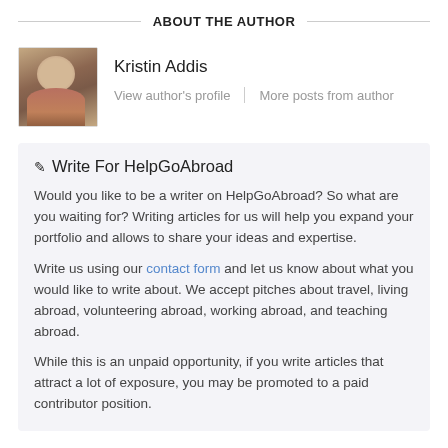ABOUT THE AUTHOR
[Figure (photo): Headshot photo of Kristin Addis]
Kristin Addis
View author's profile | More posts from author
✎ Write For HelpGoAbroad
Would you like to be a writer on HelpGoAbroad? So what are you waiting for? Writing articles for us will help you expand your portfolio and allows to share your ideas and expertise.
Write us using our contact form and let us know about what you would like to write about. We accept pitches about travel, living abroad, volunteering abroad, working abroad, and teaching abroad.
While this is an unpaid opportunity, if you write articles that attract a lot of exposure, you may be promoted to a paid contributor position.